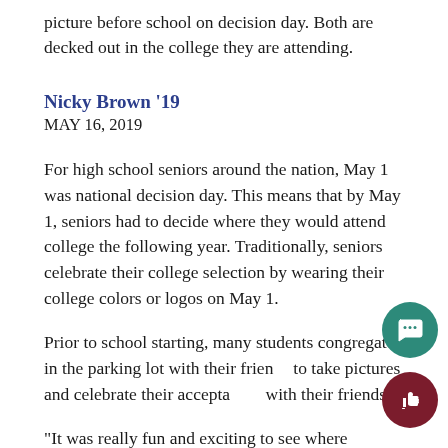picture before school on decision day. Both are decked out in the college they are attending.
Nicky Brown '19
MAY 16, 2019
For high school seniors around the nation, May 1 was national decision day. This means that by May 1, seniors had to decide where they would attend college the following year. Traditionally, seniors celebrate their college selection by wearing their college colors or logos on May 1.
Prior to school starting, many students congregated in the parking lot with their friends to take pictures and celebrate their acceptances with their friends.
“It was really fun and exciting to see where